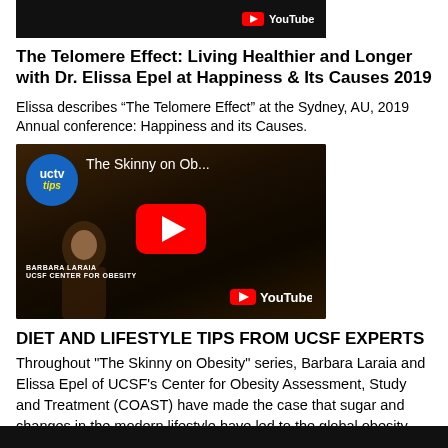[Figure (screenshot): Top portion of a YouTube video thumbnail showing a dark background with YouTube logo/text visible at top right]
The Telomere Effect: Living Healthier and Longer with Dr. Elissa Epel at Happiness & Its Causes 2019
Elissa describes “The Telomere Effect” at the Sydney, AU, 2019 Annual conference: Happiness and its Causes.
[Figure (screenshot): YouTube video thumbnail for 'The Skinny on Ob...' featuring UCTV tips badge (blue circle with yellow 'tips' text), video title overlay, red play button, YouTube logo at bottom right, and Barbara Laraia lower-third caption. Dark audience seating visible in background.]
DIET AND LIFESTYLE TIPS FROM UCSF EXPERTS
Throughout "The Skinny on Obesity" series, Barbara Laraia and Elissa Epel of UCSF's Center for Obesity Assessment, Study and Treatment (COAST) have made the case that sugar and changes in the modern lifestyle have led to the global obesity epidemic. But what do they recommend we do about it in our daily lives?